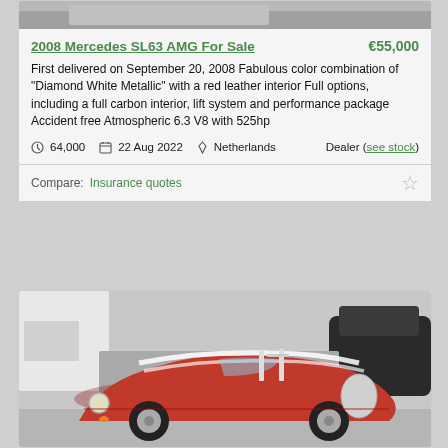[Figure (photo): Top portion of a car photo, grey background, partially visible]
2008 Mercedes SL63 AMG For Sale
€55,000
First delivered on September 20, 2008 Fabulous color combination of "Diamond White Metallic" with a red leather interior Full options, including a full carbon interior, lift system and performance package Accident free Atmospheric 6.3 V8 with 525hp
64,000   22 Aug 2022   Netherlands   Dealer (see stock)
Compare:  Insurance quotes
[Figure (photo): Red open-top sports car (Caterham/Lotus-style) with white racing stripes, parked in a garage or lot, viewed from front-left angle]